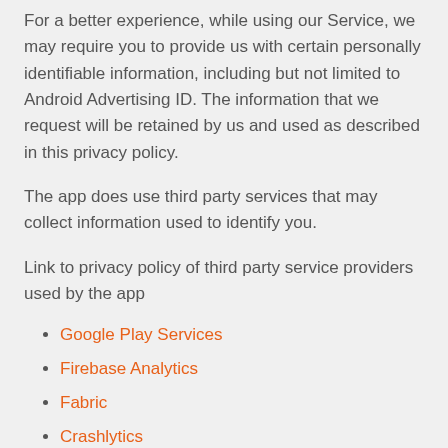For a better experience, while using our Service, we may require you to provide us with certain personally identifiable information, including but not limited to Android Advertising ID. The information that we request will be retained by us and used as described in this privacy policy.
The app does use third party services that may collect information used to identify you.
Link to privacy policy of third party service providers used by the app
Google Play Services
Firebase Analytics
Fabric
Crashlytics
Unity Ads
Unity Analytics